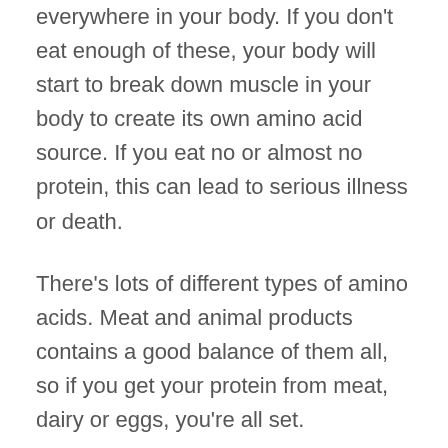everywhere in your body. If you don't eat enough of these, your body will start to break down muscle in your body to create its own amino acid source. If you eat no or almost no protein, this can lead to serious illness or death.
There's lots of different types of amino acids. Meat and animal products contains a good balance of them all, so if you get your protein from meat, dairy or eggs, you're all set.
It used to be thought that vegetarians needed to mix their protein sources to obtain the right balance of amino acids, but we now know that if you are a vegetarian and you have a moderately balanced diet, you'll be fine. The only exception to this rule is if your diet relies very heavily on fruit, tubers (potatoes), or junk food (flour, sugar